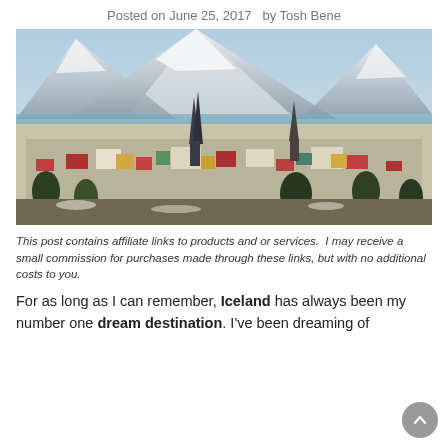Posted on June 25, 2017   by Tosh Bene
[Figure (photo): Aerial view of Reykjavik, Iceland with snow-capped mountains in the background and colorful buildings in the foreground under a partly cloudy sky.]
This post contains affiliate links to products and or services.  I may receive a small commission for purchases made through these links, but with no additional costs to you.
For as long as I can remember, Iceland has always been my number one dream destination. I've been dreaming of